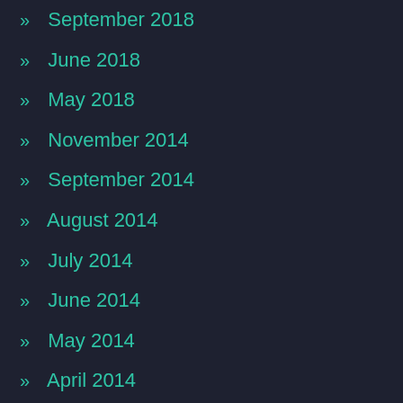» September 2018
» June 2018
» May 2018
» November 2014
» September 2014
» August 2014
» July 2014
» June 2014
» May 2014
» April 2014
» March 2014
» February 2014
» January 2014
» December 2013